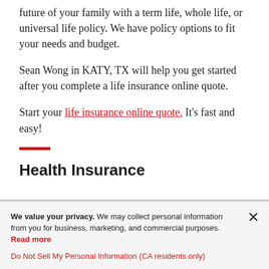future of your family with a term life, whole life, or universal life policy. We have policy options to fit your needs and budget.
Sean Wong in KATY, TX will help you get started after you complete a life insurance online quote.
Start your life insurance online quote. It's fast and easy!
Health Insurance
We value your privacy. We may collect personal information from you for business, marketing, and commercial purposes. Read more
Do Not Sell My Personal Information (CA residents only)